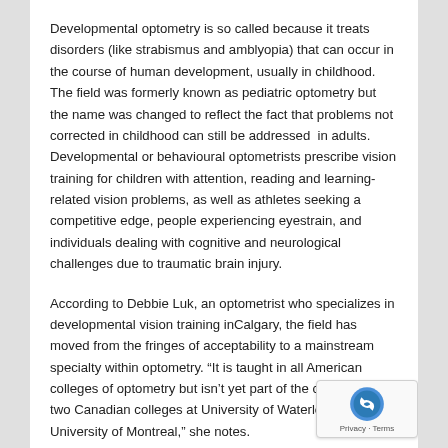Developmental optometry is so called because it treats disorders (like strabismus and amblyopia) that can occur in the course of human development, usually in childhood. The field was formerly known as pediatric optometry but the name was changed to reflect the fact that problems not corrected in childhood can still be addressed  in adults. Developmental or behavioural optometrists prescribe vision training for children with attention, reading and learning-related vision problems, as well as athletes seeking a competitive edge, people experiencing eyestrain, and individuals dealing with cognitive and neurological challenges due to traumatic brain injury.
According to Debbie Luk, an optometrist who specializes in developmental vision training inCalgary, the field has moved from the fringes of acceptability to a mainstream specialty within optometry. “It is taught in all American colleges of optometry but isn’t yet part of the curriculum our two Canadian colleges at University of Waterloo and University of Montreal,” she notes.